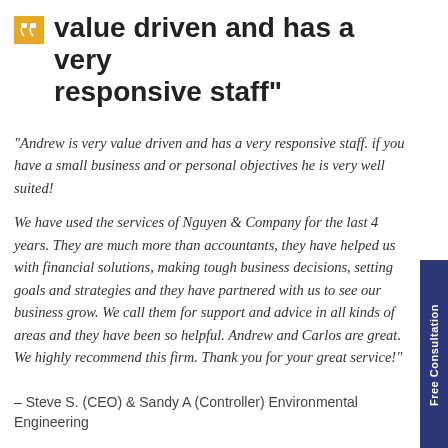value driven and has a very responsive staff"
"Andrew is very value driven and has a very responsive staff. if you have a small business and or personal objectives he is very well suited!
We have used the services of Nguyen & Company for the last 4 years. They are much more than accountants, they have helped us with financial solutions, making tough business decisions, setting goals and strategies and they have partnered with us to see our business grow. We call them for support and advice in all kinds of areas and they have been so helpful. Andrew and Carlos are great. We highly recommend this firm. Thank you for your great service!"
- Steve S. (CEO) & Sandy A (Controller) Environmental Engineering